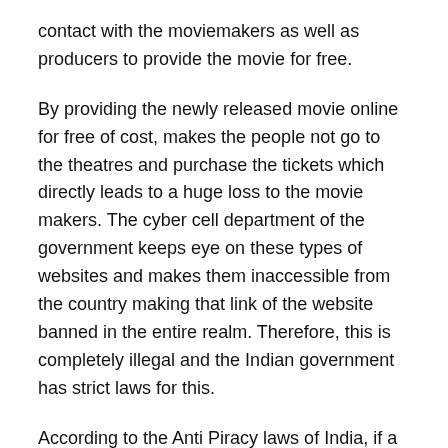contact with the moviemakers as well as producers to provide the movie for free.
By providing the newly released movie online for free of cost, makes the people not go to the theatres and purchase the tickets which directly leads to a huge loss to the movie makers. The cyber cell department of the government keeps eye on these types of websites and makes them inaccessible from the country making that link of the website banned in the entire realm. Therefore, this is completely illegal and the Indian government has strict laws for this.
According to the Anti Piracy laws of India, if a person is